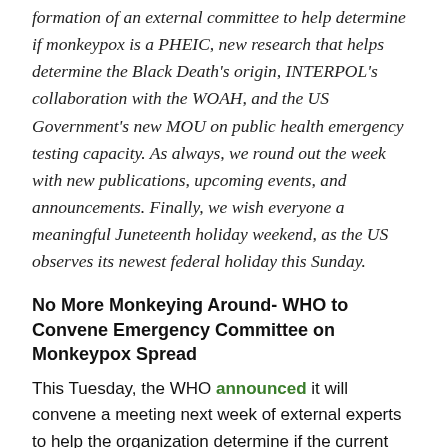formation of an external committee to help determine if monkeypox is a PHEIC, new research that helps determine the Black Death's origin, INTERPOL's collaboration with the WOAH, and the US Government's new MOU on public health emergency testing capacity. As always, we round out the week with new publications, upcoming events, and announcements. Finally, we wish everyone a meaningful Juneteenth holiday weekend, as the US observes its newest federal holiday this Sunday.
No More Monkeying Around- WHO to Convene Emergency Committee on Monkeypox Spread
This Tuesday, the WHO announced it will convene a meeting next week of external experts to help the organization determine if the current spread of monkeypox is a public health emergency of international concern (PHEIC). As of June 16, 37 countries where the disease is not endemic are